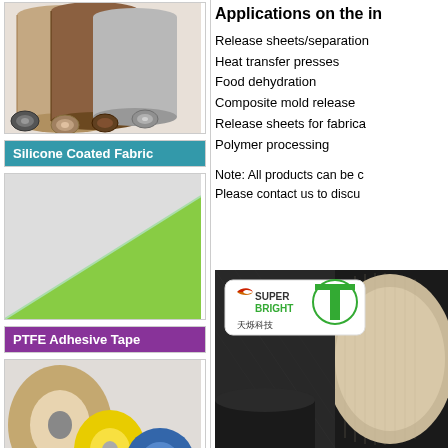[Figure (photo): PTFE rolls/tubes stacked together in various colors]
[Figure (photo): Silicone Coated Fabric product label with teal background]
[Figure (photo): Colorful layered silicone coated fabric sheets fanned out]
[Figure (photo): PTFE Adhesive Tape product label with purple background]
[Figure (photo): PTFE adhesive tape rolls of various sizes and colors]
Applications on the in
Release sheets/separation
Heat transfer presses
Food dehydration
Composite mold release
Release sheets for fabrica
Polymer processing
Note: All products can be c
Please contact us to discu
[Figure (logo): Super Bright 天烁科技 logo on product roll image]
[Figure (photo): Close-up of beige PTFE roll on dark textured background]